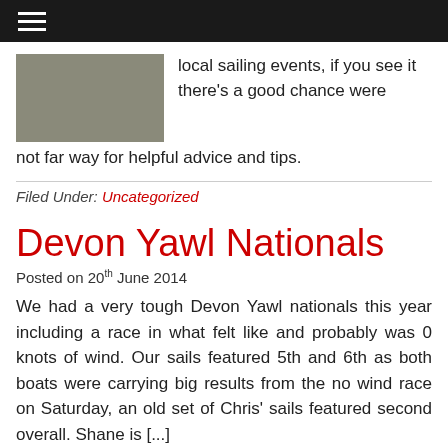≡
[Figure (photo): A greyscale photo, partially visible, showing an outdoor scene]
local sailing events, if you see it there's a good chance were not far way for helpful advice and tips.
Filed Under: Uncategorized
Devon Yawl Nationals
Posted on 20th June 2014
We had a very tough Devon Yawl nationals this year including a race in what felt like and probably was 0 knots of wind. Our sails featured 5th and 6th as both boats were carrying big results from the no wind race on Saturday, an old set of Chris' sails featured second overall. Shane is [...]